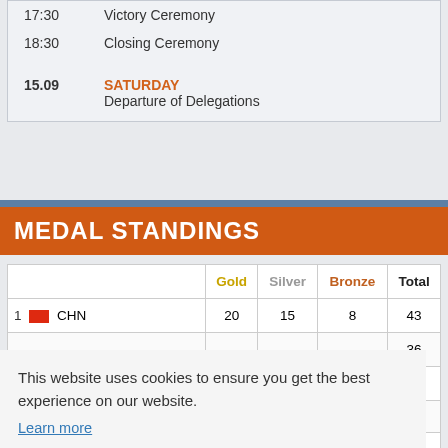|  |  |
| --- | --- |
| 17:30 | Victory Ceremony |
| 18:30 | Closing Ceremony |
| 15.09 | SATURDAY
Departure of Delegations |
MEDAL STANDINGS
|  | Gold | Silver | Bronze | Total |
| --- | --- | --- | --- | --- |
| 1  CHN | 20 | 15 | 8 | 43 |
|  |  |  |  | 36 |
|  |  |  |  | 27 |
|  |  |  |  | 37 |
|  |  |  |  | 17 |
|  |  |  |  | 16 |
This website uses cookies to ensure you get the best experience on our website.
Learn more
Got it!